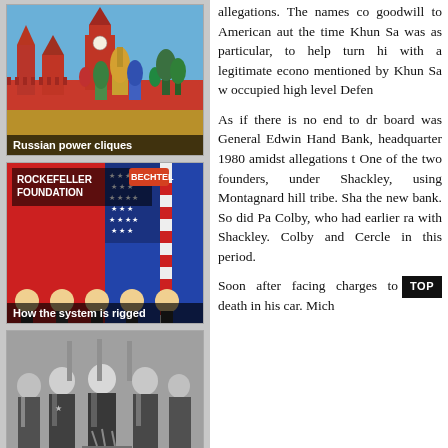[Figure (photo): Photo of Moscow Kremlin and St. Basil's Cathedral with colorful onion domes against a blue sky]
Russian power cliques
[Figure (photo): Collage image showing Rockefeller Foundation and Bechtel logos with caricatures of people]
How the system is rigged
[Figure (photo): Black and white photograph of several men in suits standing together]
911: Superclass Suspects
allegations. The names co goodwill to American aut the time Khun Sa was as particular, to help turn hi with a legitimate econo mentioned by Khun Sa w occupied high level Defen
As if there is no end to dr board was General Edwin Hand Bank, headquarter 1980 amidst allegations t One of the two founders, under Shackley, using Montagnard hill tribe. Sha the new bank. So did Pa Colby, who had earlier ra with Shackley. Colby and Cercle in this period.
Soon after facing charges to death in his car. Mich